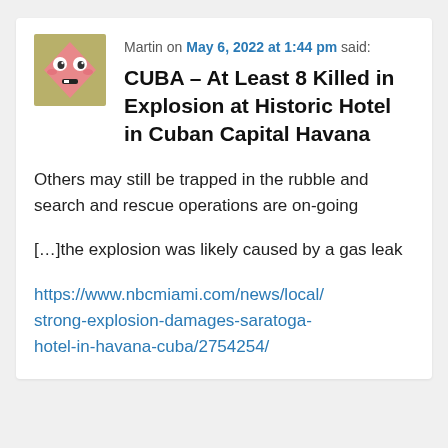Martin on May 6, 2022 at 1:44 pm said:
CUBA – At Least 8 Killed in Explosion at Historic Hotel in Cuban Capital Havana
Others may still be trapped in the rubble and search and rescue operations are on-going
[…]the explosion was likely caused by a gas leak
https://www.nbcmiami.com/news/local/strong-explosion-damages-saratoga-hotel-in-havana-cuba/2754254/